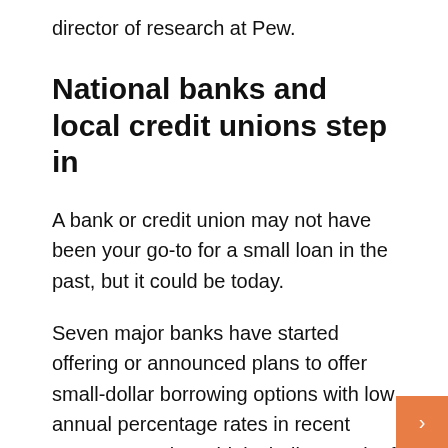director of research at Pew.
National banks and local credit unions step in
A bank or credit union may not have been your go-to for a small loan in the past, but it could be today.
Seven major banks have started offering or announced plans to offer small-dollar borrowing options with low annual percentage rates in recent years, Horowitz said, including Bank of America, Wells Fargo and Truist. These loans are available to existing bank customers nationwide, regardless of state interest rate limits